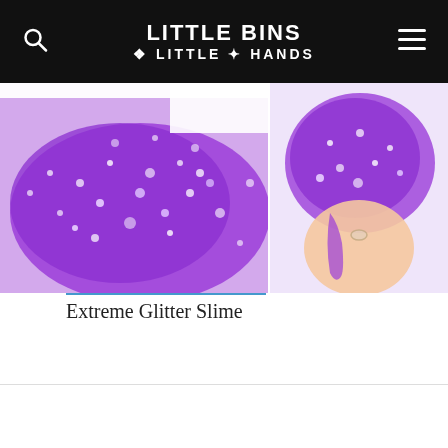Little Bins Little Hands
[Figure (photo): Two photos side by side: left shows extreme close-up of purple glitter slime shaped in a mound, right shows a hand holding and stretching purple glitter slime, both on white background.]
Extreme Glitter Slime